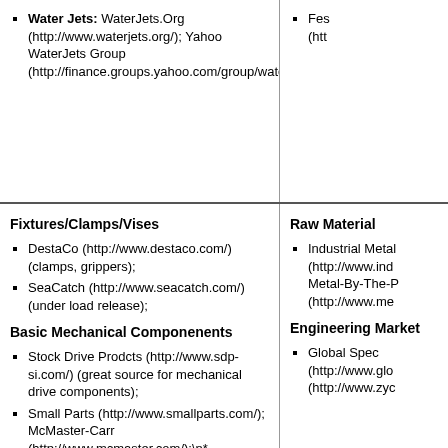Water Jets: WaterJets.Org (http://www.waterjets.org/); Yahoo WaterJets Group (http://finance.groups.yahoo.com/group/waterjets/);
Fes (htt
Fixtures/Clamps/Vises
DestaCo (http://www.destaco.com/) (clamps, grippers);
SeaCatch (http://www.seacatch.com/) (under load release);
Basic Mechanical Componenents
Stock Drive Prodcts (http://www.sdp-si.com/) (great source for mechanical drive components);
Small Parts (http://www.smallparts.com/); McMaster-Carr (http://www.mcmaster.com/);\n* MicroFasteners
Raw Material
Industrial Metal (http://www.ind Metal-By-The-P (http://www.me
Engineering Market
Global Spec (http://www.glo (http://www.zyc